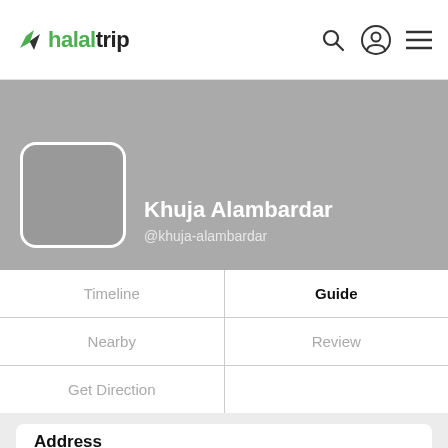halaltrip
[Figure (screenshot): HalalTrip user profile page for Khuja Alambardar showing profile banner with avatar placeholder, navigation tabs (Timeline, Guide, Nearby, Review, Get Direction), and an address card section showing Kamalan Street, 7]
Khuja Alambardar
@khuja-alambardar
Timeline
Guide
Nearby
Review
Get Direction
Address
Kamalan Street, 7